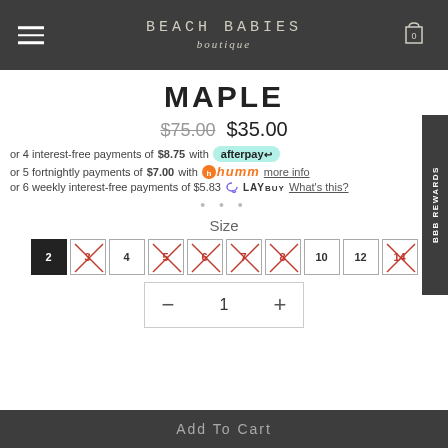BEACH BABIES boutique
MAPLE
$75.00 $35.00
or 4 interest-free payments of $8.75 with afterpay
or 5 fortnightly payments of $7.00 with humm more info
or 6 weekly interest-free payments of $5.83 LAYBUY What's this?
Size
2 3 4 5 6 7 8 10 12 14
— 1 +
Add To Cart